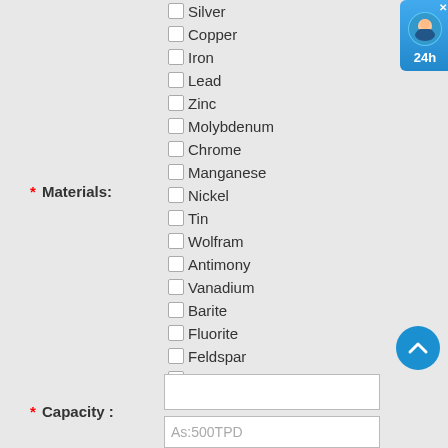☐ Silver
☐ Copper
☐ Iron
☐ Lead
☐ Zinc
☐ Molybdenum
☐ Chrome
☐ Manganese
☐ Nickel
☐ Tin
☐ Wolfram
☐ Antimony
☐ Vanadium
☐ Barite
☐ Fluorite
☐ Feldspar
☐ Graphite
☐ Zircon
☐ other
* Materials:
* Capacity :